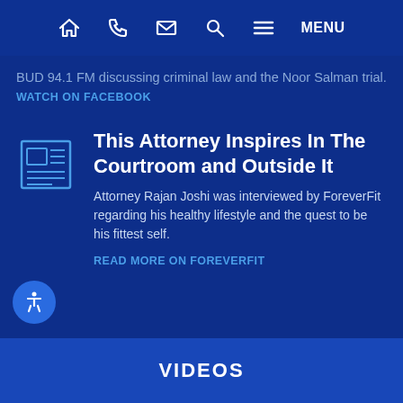Home | Phone | Email | Search | Menu
BUD 94.1 FM discussing criminal law and the Noor Salman trial.
WATCH ON FACEBOOK
This Attorney Inspires In The Courtroom and Outside It
Attorney Rajan Joshi was interviewed by ForeverFit regarding his healthy lifestyle and the quest to be his fittest self.
READ MORE ON FOREVERFIT
VIDEOS